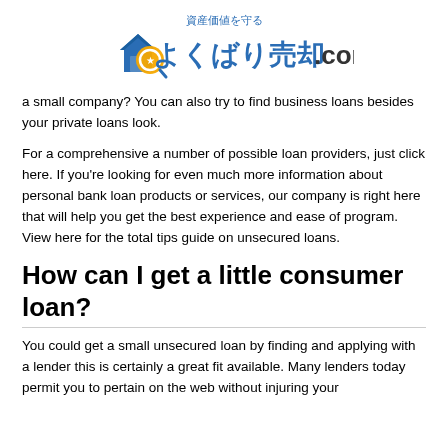[Figure (logo): よくばり売却.com logo with Japanese text 資産価値を守る and a house/magnifying glass icon]
a small company? You can also try to find business loans besides your private loans look.
For a comprehensive a number of possible loan providers, just click here. If you're looking for even much more information about personal bank loan products or services, our company is right here that will help you get the best experience and ease of program. View here for the total tips guide on unsecured loans.
How can I get a little consumer loan?
You could get a small unsecured loan by finding and applying with a lender this is certainly a great fit available. Many lenders today permit you to pertain on the web without injuring your